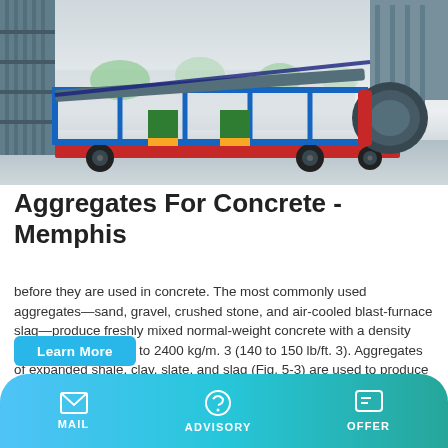[Figure (photo): Industrial conveyor belt / aggregate processing machine on a red trailer with blue steel frame, green side panels, and a large drum roll on the right, parked in front of a large structure/silo outdoors on a concrete surface.]
Aggregates For Concrete - Memphis
before they are used in concrete. The most commonly used aggregates—sand, gravel, crushed stone, and air-cooled blast-furnace slag—produce freshly mixed normal-weight concrete with a density (unit weight) of 2200 to 2400 kg/m. 3 (140 to 150 lb/ft. 3). Aggregates of expanded shale, clay, slate, and slag (Fig. 5-3) are used to produce struc
Learn More
MAIL   ADVISORY   OFFER